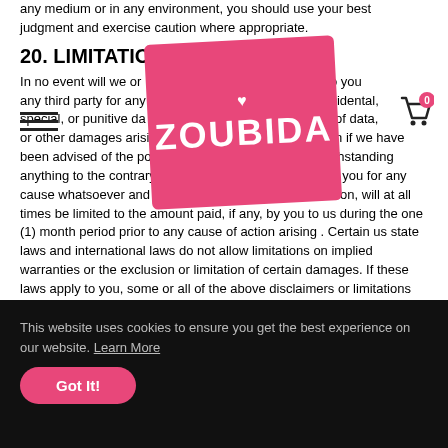any medium or in any environment, you should use your best judgment and exercise caution where appropriate.
20. LIMITATION
In no event will we or our agents be liable to you or any third party for any exemplary, incidental, special, or punitive damages, including lost profit, lost revenue, loss of data, or other damages arising from your use of the site, even if we have been advised of the possibility of such damages. notwithstanding anything to the contrary contained herein, our liability to you for any cause whatsoever and regardless of the form of the action, will at all times be limited to the amount paid, if any, by you to us during the one (1) month period prior to any cause of action arising . Certain us state laws and international laws do not allow limitations on implied warranties or the exclusion or limitation of certain damages. If these laws apply to you, some or all of the above disclaimers or limitations may not apply to you, and you may have additional rights.
21. INDEMNIFICATION
You agree to defend, indemnify, and hold us harmless, including our subsidiaries, affiliates, and all of our respective officers,
[Figure (logo): Zoubida brand logo on pink/magenta rounded rectangle background with heart symbol above text]
This website uses cookies to ensure you get the best experience on our website. Learn More
Got It!